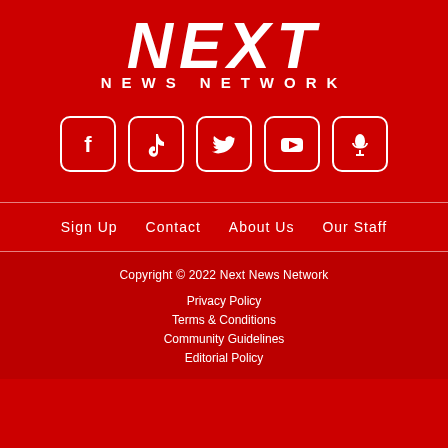[Figure (logo): Next News Network logo with large stylized 'NEXT' text and 'NEWS NETWORK' subtitle on red background]
[Figure (infographic): Row of 5 social media icons: Facebook, TikTok, Twitter, YouTube, and a microphone/podcast icon, white icons on dark red rounded squares with white borders]
Sign Up   Contact   About Us   Our Staff
Copyright © 2022 Next News Network
Privacy Policy
Terms & Conditions
Community Guidelines
Editorial Policy